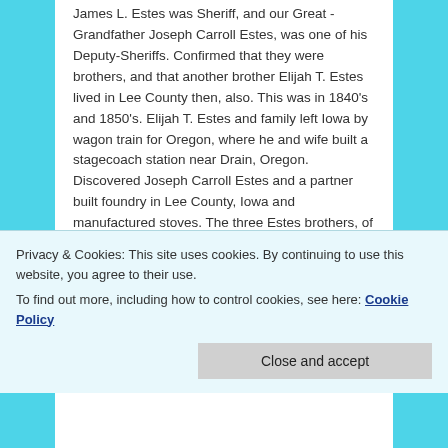James L. Estes was Sheriff, and our Great-Grandfather Joseph Carroll Estes, was one of his Deputy-Sheriffs. Confirmed that they were brothers, and that another brother Elijah T. Estes lived in Lee County then, also. This was in 1840's and 1850's. Elijah T. Estes and family left Iowa by wagon train for Oregon, where he and wife built a stagecoach station near Drain, Oregon. Discovered Joseph Carroll Estes and a partner built foundry in Lee County, Iowa and manufactured stoves. The three Estes brothers, of sixteen children of Joseph Estes and Ritta (Ritty) Lee Estes of Jefferson County, Illinois, are Grandsons of John Estes, son of Moses Estes of Halifax County, Virginia.
Privacy & Cookies: This site uses cookies. By continuing to use this website, you agree to their use.
To find out more, including how to control cookies, see here: Cookie Policy
Close and accept